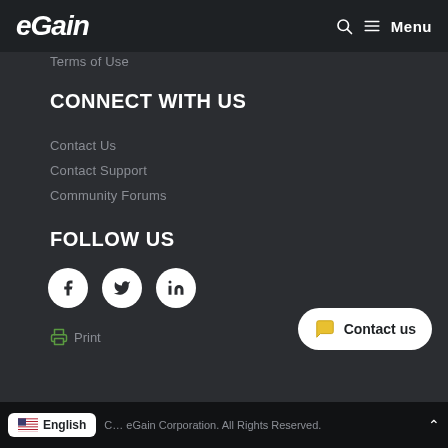eGain  🔍  ≡ Menu
Terms of Use
CONNECT WITH US
Contact Us
Contact Support
Community Forums
FOLLOW US
[Figure (illustration): Three circular white social media icons: Facebook (f), Twitter (bird), LinkedIn (in)]
🖨 Print
[Figure (illustration): White rounded rectangle button with chat bubble icon and text 'Contact us']
C... eGain Corporation. All Rights Reserved.